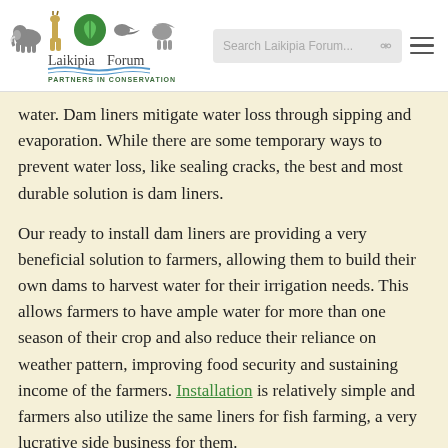Laikipia Forum — Partners in Conservation
water. Dam liners mitigate water loss through sipping and evaporation. While there are some temporary ways to prevent water loss, like sealing cracks, the best and most durable solution is dam liners.
Our ready to install dam liners are providing a very beneficial solution to farmers, allowing them to build their own dams to harvest water for their irrigation needs. This allows farmers to have ample water for more than one season of their crop and also reduce their reliance on weather pattern, improving food security and sustaining income of the farmers. Installation is relatively simple and farmers also utilize the same liners for fish farming, a very lucrative side business for them.
Our dam liners range from 0.3mm, 0.5mm, 0.75mm and 1mm.